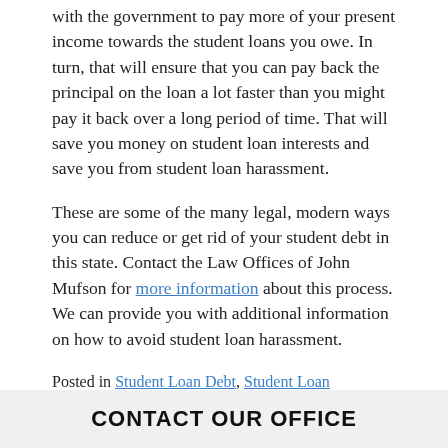with the government to pay more of your present income towards the student loans you owe. In turn, that will ensure that you can pay back the principal on the loan a lot faster than you might pay it back over a long period of time. That will save you money on student loan interests and save you from student loan harassment.
These are some of the many legal, modern ways you can reduce or get rid of your student debt in this state. Contact the Law Offices of John Mufson for more information about this process. We can provide you with additional information on how to avoid student loan harassment.
Posted in Student Loan Debt, Student Loan HarrassmentTagged student loan debt
← Get Answers to Your Motorcycle Accident Questions
Stop! Put an End to Medical Bill Harassment in Delray Beach →
CONTACT OUR OFFICE